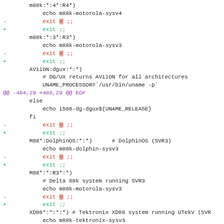[Figure (screenshot): A code diff view showing shell script changes with removed lines (red, marked with -) and added lines (green, marked with +). Context lines are shown in black monospace font. A hunk header is shown in purple. The diff shows exit statement changes and case pattern blocks for m88k, AViiON, M88*, XD88*, and Tek43 systems.]